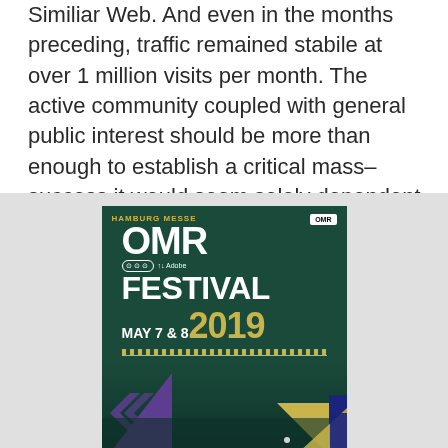Similiar Web. And even in the months preceding, traffic remained stabile at over 1 million visits per month. The active community coupled with general public interest should be more than enough to establish a critical mass–success it would seem solely dependent on if the product is up to snuff.
[Figure (illustration): OMR Festival promotional poster. Hamburg Messe. OMR Festival May 7 & 8 2019. Sponsors include Audi and Adobe. Dark teal background with purple and yellow geometric triangles, crowd scene at bottom.]